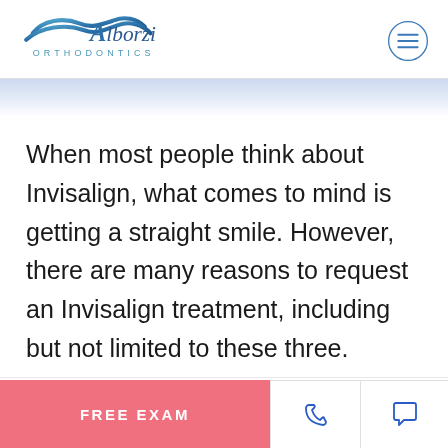[Figure (logo): Alborzi Orthodontics logo with wave/swoosh design above text 'Alborzi' and 'ORTHODONTICS' in spaced letters]
When most people think about Invisalign, what comes to mind is getting a straight smile. However, there are many reasons to request an Invisalign treatment, including but not limited to these three.
FREE EXAM  [phone icon]  [chat icon]